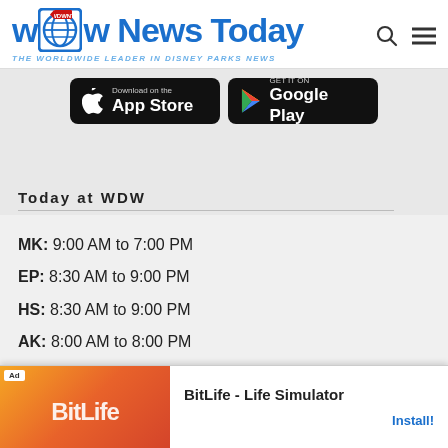[Figure (logo): WDW News Today logo with globe icon and tagline 'THE WORLDWIDE LEADER IN DISNEY PARKS NEWS']
[Figure (screenshot): App store download buttons: 'Download on the App Store' and 'GET IT ON Google Play']
Today at WDW
MK: 9:00 AM to 7:00 PM
EP: 8:30 AM to 9:00 PM
HS: 8:30 AM to 9:00 PM
AK: 8:00 AM to 8:00 PM
TL: 10:00 AM to 7:00 PM
BB: Closed
DS: 10:00 AM to 11:00 PM
[Figure (screenshot): BitLife - Life Simulator advertisement banner with Install button]